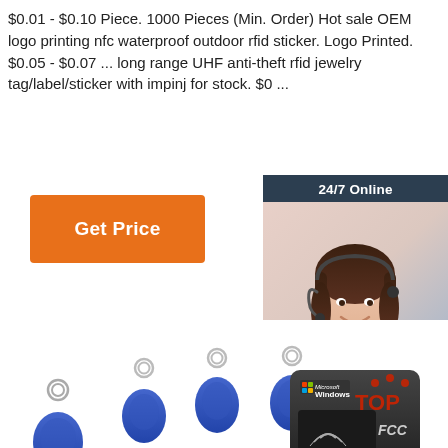$0.01 - $0.10 Piece. 1000 Pieces (Min. Order) Hot sale OEM logo printing nfc waterproof outdoor rfid sticker. Logo Printed. $0.05 - $0.07 ... long range UHF anti-theft rfid jewelry tag/label/sticker with impinj for stock. $0 ...
[Figure (other): Orange 'Get Price' button]
[Figure (other): Chat panel with '24/7 Online' header, customer service representative photo, 'Click here for free chat!' text, and orange QUOTATION button]
[Figure (photo): Product photo showing multiple blue RFID key fob tags with metal rings and a black Microsoft Windows RFID card reader device with FCC logo, plus a red TOP logo watermark]